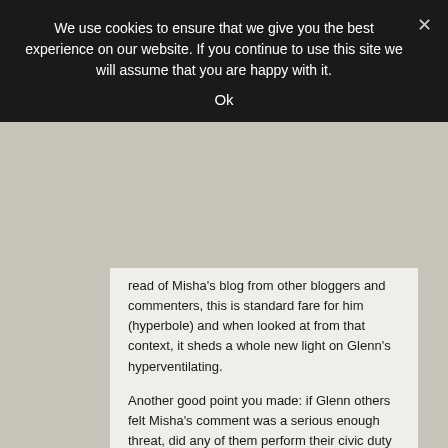We use cookies to ensure that we give you the best experience on our website. If you continue to use this site we will assume that you are happy with it.
Ok
read of Misha’s blog from other bloggers and commenters, this is standard fare for him (hyperbole) and when looked at from that context, it sheds a whole new light on Glenn’s hyperventilating.
Another good point you made: if Glenn others felt Misha’s comment was a serious enough threat, did any of them perform their civic duty by calling the FBI and informing them there’s a ‘maniac’ blogger on the loose?